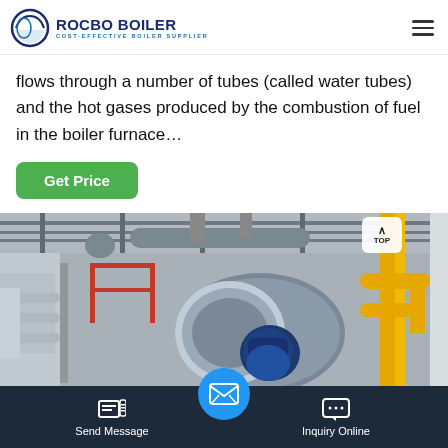ROCBO BOILER - COST-EFFECTIVE BOILER SUPPLIER
flows through a number of tubes (called water tubes) and the hot gases produced by the combustion of fuel in the boiler furnace…
Get Price
[Figure (photo): Industrial boiler installation inside a factory with large cylindrical silver boiler vessel, blue burner assembly, red walkway railings, overhead pipes and yellow gas pipes on the right side.]
Send Message | Inquiry Online